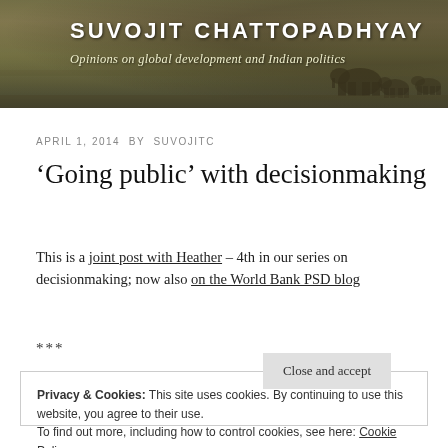SUVOJIT CHATTOPADHYAY
Opinions on global development and Indian politics
APRIL 1, 2014 BY SUVOJITC
‘Going public’ with decisionmaking
This is a joint post with Heather – 4th in our series on decisionmaking; now also on the World Bank PSD blog
***
Privacy & Cookies: This site uses cookies. By continuing to use this website, you agree to their use.
To find out more, including how to control cookies, see here: Cookie Policy
Close and accept